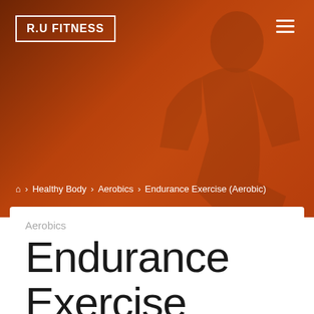[Figure (photo): Hero banner with orange-tinted photo of a person exercising, dark gradient overlay]
R.U FITNESS
⌂ › Healthy Body › Aerobics › Endurance Exercise (Aerobic)
Aerobics
Endurance Exercise (Aerobic)
Don M. Gilbert • July 5, 2019 • Leave a comment